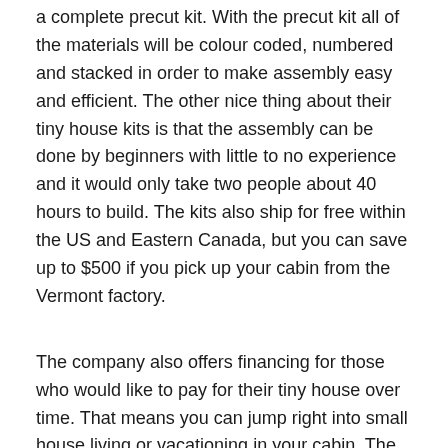a complete precut kit. With the precut kit all of the materials will be colour coded, numbered and stacked in order to make assembly easy and efficient. The other nice thing about their tiny house kits is that the assembly can be done by beginners with little to no experience and it would only take two people about 40 hours to build. The kits also ship for free within the US and Eastern Canada, but you can save up to $500 if you pick up your cabin from the Vermont factory.
The company also offers financing for those who would like to pay for their tiny house over time. That means you can jump right into small house living or vacationing in your cabin. The tiny cottage looks so cute from the outside, with all wood siding, perfect for a home set out in nature. As you can see in the photos, customers can choose their colour of stain or paint as well as the colour of the metal roofing to give their home a unique look that's all their own. Inside, the cabins are all wood as well, and you can choose the stain selected for the